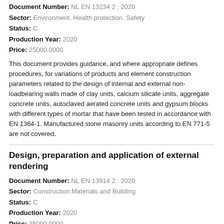Document Number: NL EN 13234 2 : 2020
Sector: Environment. Health protection. Safety
Status: C
Production Year: 2020
Price: 25000.0000
This document provides guidance, and where appropriate defines procedures, for variations of products and element construction parameters related to the design of internal and external non-loadbearing walls made of clay units, calcium silicate units, aggregate concrete units, autoclaved aerated concrete units and gypsum blocks with different types of mortar that have been tested in accordance with EN 1364-1. Manufactured stone masonry units according to EN 771-5 are not covered.
Design, preparation and application of external rendering
Document Number: NL EN 13914 2 : 2020
Sector: Construction Materials and Building
Status: C
Production Year: 2020
Price: 35000.0000
plastering systems and application of plastering systems. The different